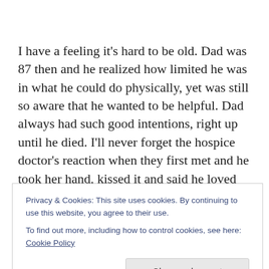I have a feeling it's hard to be old. Dad was 87 then and he realized how limited he was in what he could do physically, yet was still so aware that he wanted to be helpful. Dad always had such good intentions, right up until he died. I'll never forget the hospice doctor's reaction when they first met and he took her hand, kissed it and said he loved her, less than a week before he died. At this point he had stopped eating. She was expecting twins
Privacy & Cookies: This site uses cookies. By continuing to use this website, you agree to their use.
To find out more, including how to control cookies, see here: Cookie Policy
Close and accept